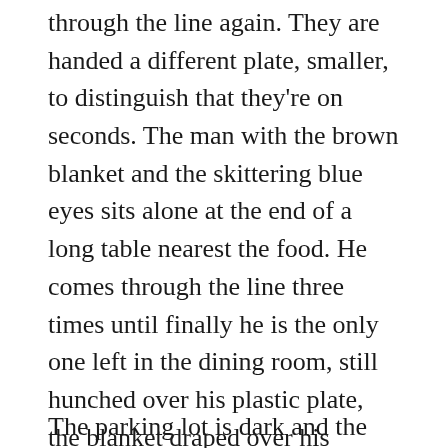through the line again. They are handed a different plate, smaller, to distinguish that they're on seconds. The man with the brown blanket and the skittering blue eyes sits alone at the end of a long table nearest the food. He comes through the line three times until finally he is the only one left in the dining room, still hunched over his plastic plate, the blanket draped over his shoulders. I watch him as I dip my sponge into the bucket of disinfectant and glide it over the gleaming countertop. I bring a pan to the dish washer in the back room, and when I return to the serving area, the man is gone.
The parking lot is dark and the street deserted